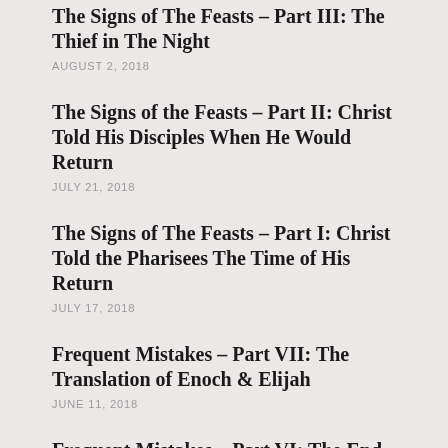The Signs of The Feasts – Part III: The Thief in The Night
AUGUST 2, 2018
The Signs of the Feasts – Part II: Christ Told His Disciples When He Would Return
JULY 21, 2018
The Signs of The Feasts – Part I: Christ Told the Pharisees The Time of His Return
JULY 17, 2018
Frequent Mistakes – Part VII: The Translation of Enoch & Elijah
JUNE 11, 2018
Frequent Mistakes – Part VI: The End of The World, or....???
APRIL 28, 2018